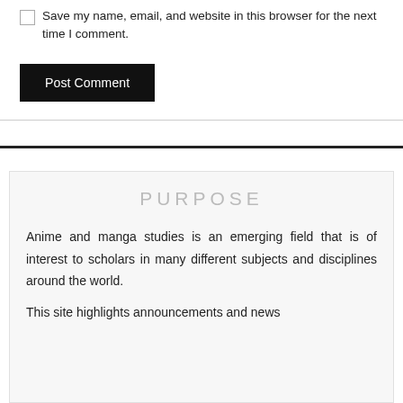Save my name, email, and website in this browser for the next time I comment.
Post Comment
PURPOSE
Anime and manga studies is an emerging field that is of interest to scholars in many different subjects and disciplines around the world.
This site highlights announcements and news